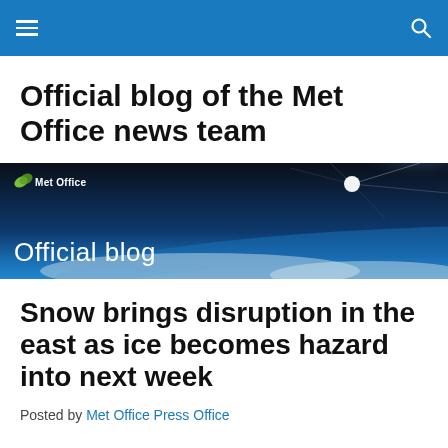Met Office Official Blog – navigation bar
Official blog of the Met Office news team
[Figure (illustration): Met Office Official Blog banner image showing Earth's atmosphere from space with a starburst of light, dark to blue gradient sky, and clouds below. Text reads 'Met Office' logo with leaf icon and 'Official blog' in white.]
Snow brings disruption in the east as ice becomes hazard into next week
Posted by Met Office Press Office